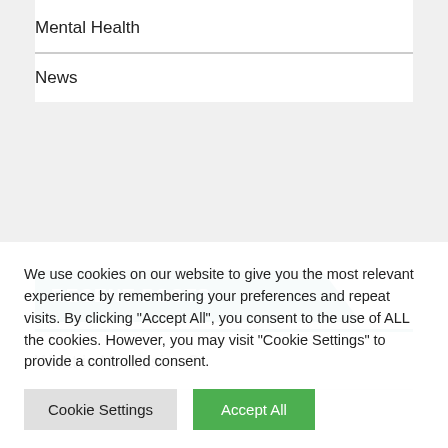Mental Health
News
RECENT POSTS
What is Narcissism?
We use cookies on our website to give you the most relevant experience by remembering your preferences and repeat visits. By clicking “Accept All”, you consent to the use of ALL the cookies. However, you may visit "Cookie Settings" to provide a controlled consent.
Cookie Settings | Accept All